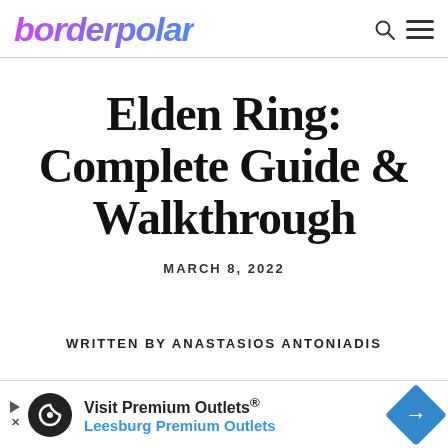borderpolar
Elden Ring: Complete Guide & Walkthrough
MARCH 8, 2022
WRITTEN BY ANASTASIOS ANTONIADIS
[Figure (other): Advertisement banner: Visit Premium Outlets® Leesburg Premium Outlets with brand logo and navigation arrow]